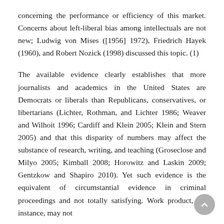concerning the performance or efficiency of this market. Concerns about left-liberal bias among intellectuals are not new; Ludwig von Mises ([1956] 1972), Friedrich Hayek (1960), and Robert Nozick (1998) discussed this topic. (1)
The available evidence clearly establishes that more journalists and academics in the United States are Democrats or liberals than Republicans, conservatives, or libertarians (Lichter, Rothman, and Lichter 1986; Weaver and Wilhoit 1996; Cardiff and Klein 2005; Klein and Stern 2005) and that this disparity of numbers may affect the substance of research, writing, and teaching (Groseclose and Milyo 2005; Kimball 2008; Horowitz and Laskin 2009; Gentzkow and Shapiro 2010). Yet such evidence is the equivalent of circumstantial evidence in criminal proceedings and not totally satisfying. Work product, for instance, may not